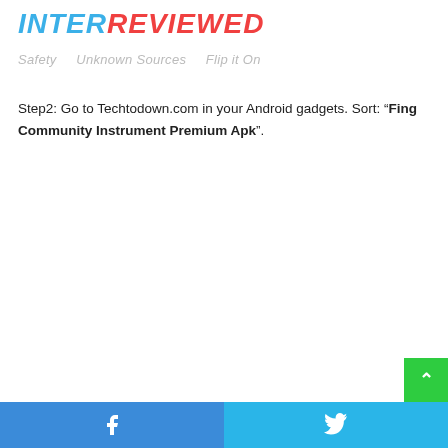INTERREVIEWED
Safety   Unknown Sources   Flip it On
Step2: Go to Techtodown.com in your Android gadgets. Sort: “Fing Community Instrument Premium Apk”.